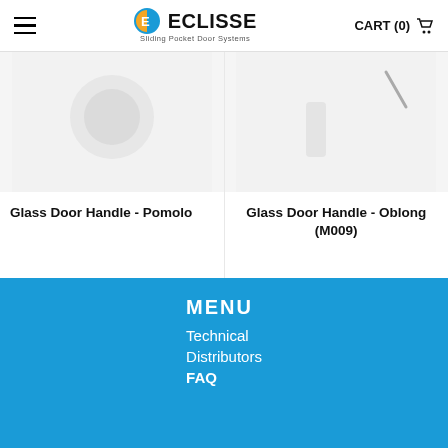ECLISSE - Sliding Pocket Door Systems | CART (0)
[Figure (photo): Product image of Glass Door Handle - Pomolo on light grey background]
Glass Door Handle - Pomolo
[Figure (photo): Product image of Glass Door Handle - Oblong (M009) on light grey background]
Glass Door Handle - Oblong (M009)
MENU
Technical
Distributors
FAQ